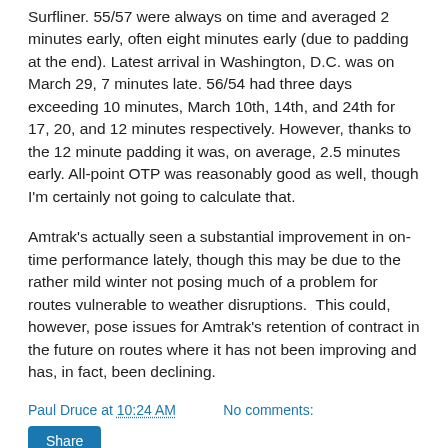Surfliner. 55/57 were always on time and averaged 2 minutes early, often eight minutes early (due to padding at the end). Latest arrival in Washington, D.C. was on March 29, 7 minutes late. 56/54 had three days exceeding 10 minutes, March 10th, 14th, and 24th for 17, 20, and 12 minutes respectively. However, thanks to the 12 minute padding it was, on average, 2.5 minutes early. All-point OTP was reasonably good as well, though I'm certainly not going to calculate that.
Amtrak's actually seen a substantial improvement in on-time performance lately, though this may be due to the rather mild winter not posing much of a problem for routes vulnerable to weather disruptions.  This could, however, pose issues for Amtrak's retention of contract in the future on routes where it has not been improving and has, in fact, been declining.
Paul Druce at 10:24 AM    No comments:
Share
Tuesday, April 24, 2012